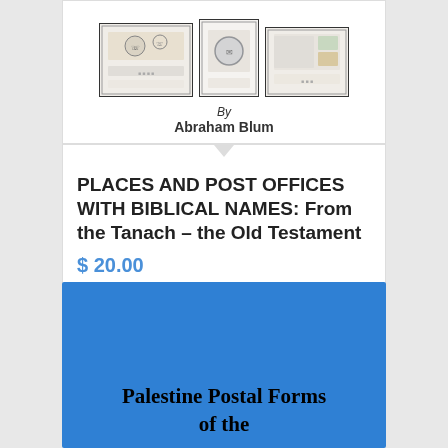[Figure (photo): Three philatelic covers/stamps displayed side by side, each with a dark border, showing postal items. Author credit below reads 'By Abraham Blum'.]
PLACES AND POST OFFICES WITH BIBLICAL NAMES: From the Tanach – the Old Testament
$ 20.00
Add to cart
Show Details
[Figure (photo): Blue book cover showing title 'Palestine Postal Forms of the']